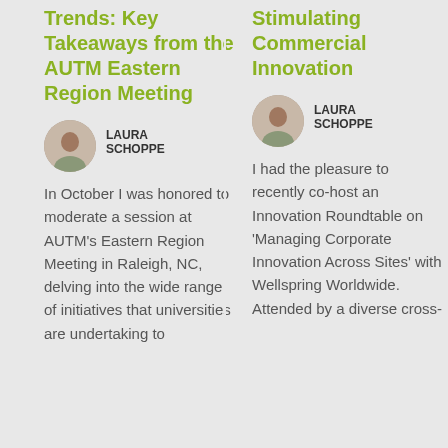Trends: Key Takeaways from the AUTM Eastern Region Meeting
[Figure (photo): Circular headshot of Laura Schoppe, a woman with short brown hair]
LAURA SCHOPPE
In October I was honored to moderate a session at AUTM's Eastern Region Meeting in Raleigh, NC, delving into the wide range of initiatives that universities are undertaking to
Stimulating Commercial Innovation
[Figure (photo): Circular headshot of Laura Schoppe, a woman with short brown hair]
LAURA SCHOPPE
I had the pleasure to recently co-host an Innovation Roundtable on 'Managing Corporate Innovation Across Sites' with Wellspring Worldwide. Attended by a diverse cross-